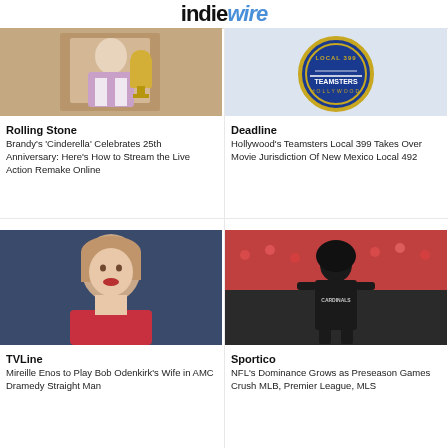IndieWire
[Figure (photo): Photo of woman in elegant dress holding a trophy at Rolling Stone]
Rolling Stone
Brandy's 'Cinderella' Celebrates 25th Anniversary: Here's How to Stream the Live Action Remake Online
[Figure (logo): Deadline Hollywood Teamsters Local 399 badge/logo]
Deadline
Hollywood's Teamsters Local 399 Takes Over Movie Jurisdiction Of New Mexico Local 492
[Figure (photo): Photo of woman with reddish-blonde hair in red dress on blue background — TVLine]
TVLine
Mireille Enos to Play Bob Odenkirk's Wife in AMC Dramedy Straight Man
[Figure (photo): Photo of NFL player on football field wearing Cardinals hoodie — Sportico]
Sportico
NFL's Dominance Grows as Preseason Games Crush MLB, Premier League, MLS